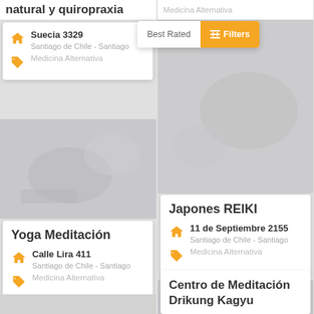natural y quiropraxia
Best Rated
Filters
Suecia 3329
Santiago de Chile - Santiago
Medicina Alternativa
[Figure (screenshot): Photo background showing medical/massage scene]
Yoga Meditación
Calle Lira 411
Santiago de Chile - Santiago
Medicina Alternativa
Medicina Alternativa
[Figure (screenshot): Gray photo background, right side top]
Japones REIKI
11 de Septiembre 2155
Santiago de Chile - Santiago
Medicina Alternativa
[Figure (screenshot): Gray photo background with massage tools]
Centro de Meditación Drikung Kagyu